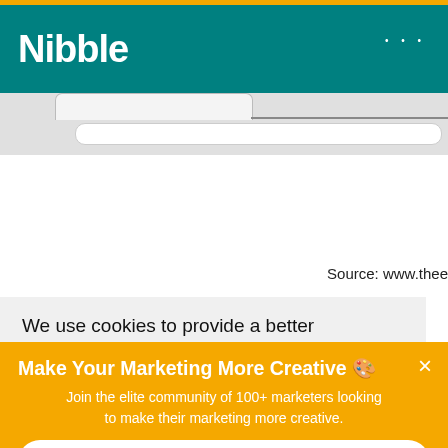Nibble
[Figure (screenshot): Browser chrome with tab and URL bar visible at top of web page]
Source: www.thee
We use cookies to provide a better
Make Your Marketing More Creative 🎨
Join the elite community of 100+ marketers looking to make their marketing more creative.
Join Our Newsletter